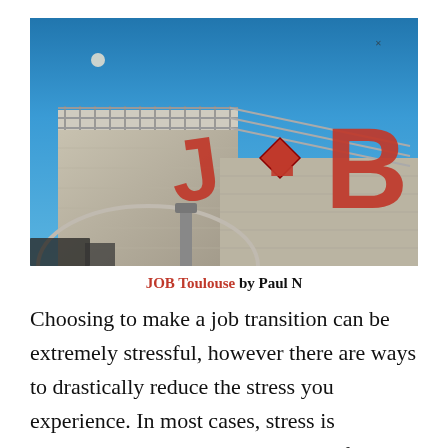[Figure (photo): Photograph looking up at the top of a building against a blue sky, with large red letters 'JOB' and a diamond shape mounted on the building's facade, and metal railing at the top.]
JOB Toulouse by Paul N
Choosing to make a job transition can be extremely stressful, however there are ways to drastically reduce the stress you experience. In most cases, stress is heightened due to the expectation of the